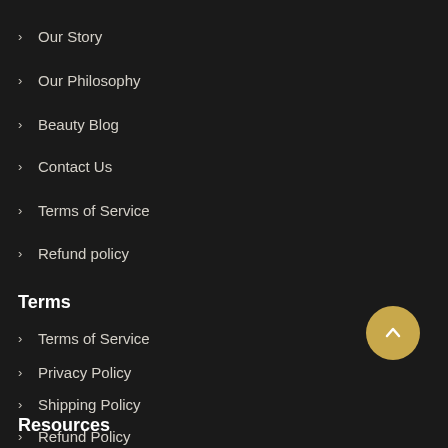> Our Story
> Our Philosophy
> Beauty Blog
> Contact Us
> Terms of Service
> Refund policy
Terms
> Terms of Service
> Privacy Policy
> Shipping Policy
> Refund Policy
Resources